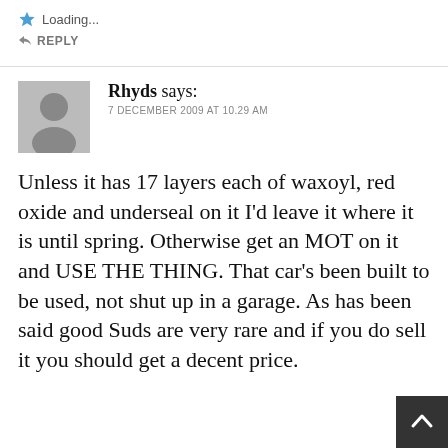Loading...
REPLY
Rhyds says:
7 DECEMBER 2009 AT 10.29 AM
Unless it has 17 layers each of waxoyl, red oxide and underseal on it I'd leave it where it is until spring. Otherwise get an MOT on it and USE THE THING. That car's been built to be used, not shut up in a garage. As has been said good Suds are very rare and if you do sell it you should get a decent price.